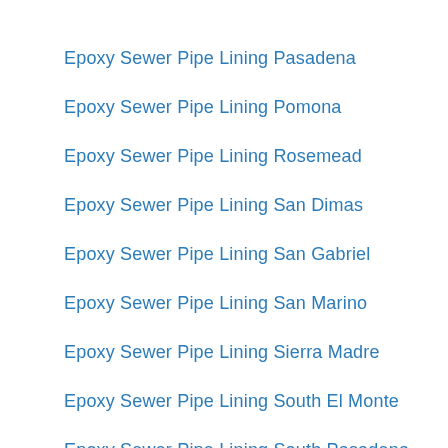Epoxy Sewer Pipe Lining Pasadena
Epoxy Sewer Pipe Lining Pomona
Epoxy Sewer Pipe Lining Rosemead
Epoxy Sewer Pipe Lining San Dimas
Epoxy Sewer Pipe Lining San Gabriel
Epoxy Sewer Pipe Lining San Marino
Epoxy Sewer Pipe Lining Sierra Madre
Epoxy Sewer Pipe Lining South El Monte
Epoxy Sewer Pipe Lining South Pasadena
Epoxy Sewer Pipe Lining Temple City